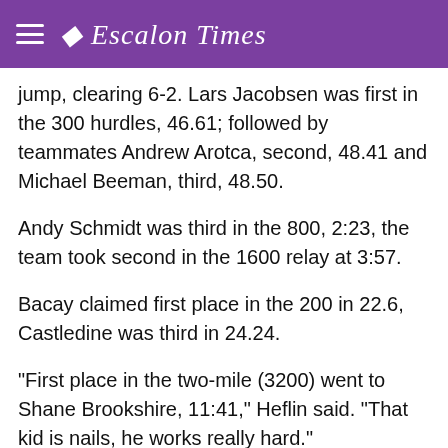Escalon Times
jump, clearing 6-2. Lars Jacobsen was first in the 300 hurdles, 46.61; followed by teammates Andrew Arotca, second, 48.41 and Michael Beeman, third, 48.50.
Andy Schmidt was third in the 800, 2:23, the team took second in the 1600 relay at 3:57.
Bacay claimed first place in the 200 in 22.6, Castledine was third in 24.24.
"First place in the two-mile (3200) went to Shane Brookshire, 11:41," Heflin said. "That kid is nails, he works really hard."
At the Saturday Invitational, the varsity boys came out on top in the small schools division, amassing 141 points.
"It was a beautiful day at Pacific Grove, we took 57 kids and we